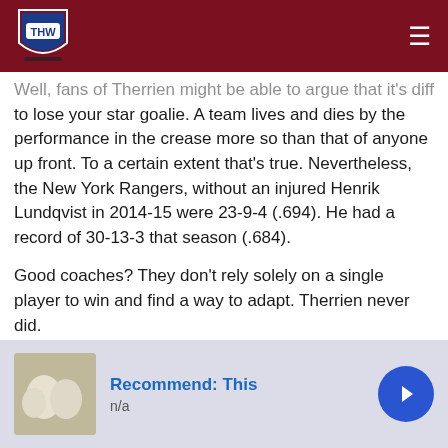THW (The Hockey Writers) navigation bar
Well, fans of Therrien might be able to argue that it's different to lose your star goalie. A team lives and dies by the performance in the crease more so than that of anyone up front. To a certain extent that's true. Nevertheless, the New York Rangers, without an injured Henrik Lundqvist in 2014-15 were 23-9-4 (.694). He had a record of 30-13-3 that season (.684).
Good coaches? They don't rely solely on a single player to win and find a way to adapt. Therrien never did.
Sure, maybe Therrien's inability to get it done that season was in part due to the lack of a viable back-up in Mike Condon. Cam Talbot has proven himself to be a legitimately good
[Figure (other): Advertisement banner: Recommend: This, n/a, with thumbnail image and blue arrow button]